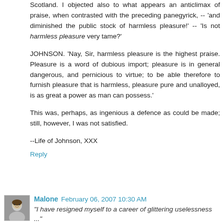Scotland. I objected also to what appears an anticlimax of praise, when contrasted with the preceding panegyrick, -- 'and diminished the public stock of harmless pleasure!' -- 'Is not harmless pleasure very tame?'
JOHNSON. 'Nay, Sir, harmless pleasure is the highest praise. Pleasure is a word of dubious import; pleasure is in general dangerous, and pernicious to virtue; to be able therefore to furnish pleasure that is harmless, pleasure pure and unalloyed, is as great a power as man can possess.'
This was, perhaps, as ingenious a defence as could be made; still, however, I was not satisfied.
--Life of Johnson, XXX
Reply
Malone  February 06, 2007 10:30 AM
"I have resigned myself to a career of glittering uselessness ..."